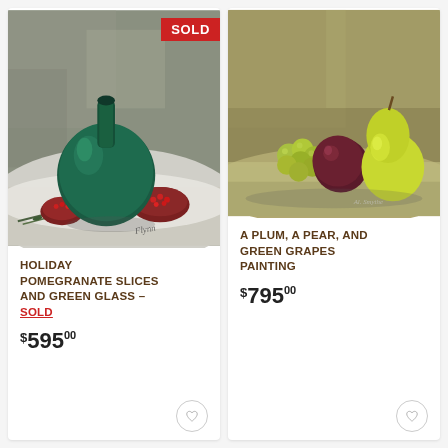[Figure (photo): Oil painting still life: green glass bottle with pomegranate slices and rosemary on a white cloth. SOLD badge in top right corner.]
HOLIDAY POMEGRANATE SLICES AND GREEN GLASS - SOLD
$59500
[Figure (photo): Oil painting still life: a plum, a yellow-green pear, and green grapes on a neutral background.]
A PLUM, A PEAR, AND GREEN GRAPES PAINTING
$79500